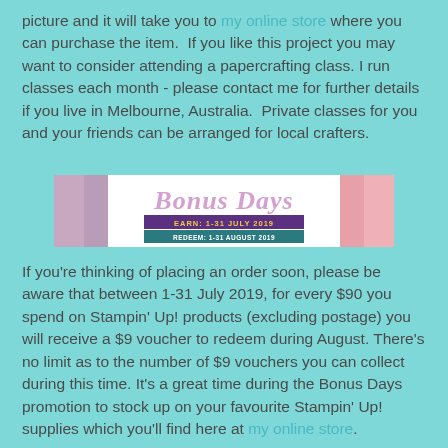picture and it will take you to my online store where you can purchase the item.  If you like this project you may want to consider attending a papercrafting class. I run classes each month - please contact me for further details if you live in Melbourne, Australia.  Private classes for you and your friends can be arranged for local crafters.
[Figure (illustration): Bonus Days promotional banner with text 'Bonus Days', 'EARN: 1-31 JULY 2019', 'REDEEM: 1-31 AUGUST 2019', pink and purple gradient accents on white background]
If you're thinking of placing an order soon, please be aware that between 1-31 July 2019, for every $90 you spend on Stampin' Up! products (excluding postage) you will receive a $9 voucher to redeem during August. There's no limit as to the number of $9 vouchers you can collect during this time. It's a great time during the Bonus Days promotion to stock up on your favourite Stampin' Up! supplies which you'll find here at my online store.
[Figure (illustration): White banner with large italic pink bold text reading 'EXTRA']